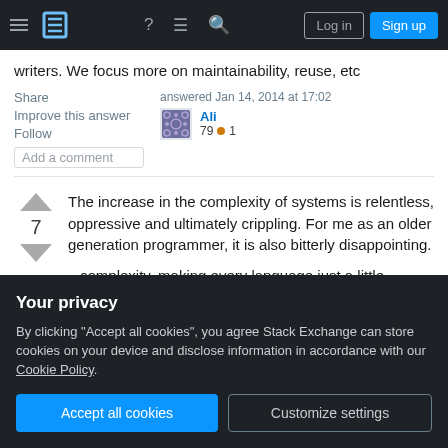Stack Exchange navigation bar with Log in and Sign up buttons
writers. We focus more on maintainability, reuse, etc
Share
Improve this answer
Follow
Add a comment
answered Jan 14, 2014 at 17:02
Ali
79 ● 1
The increase in the complexity of systems is relentless, oppressive and ultimately crippling. For me as an older generation programmer, it is also bitterly disappointing.
Your privacy
By clicking "Accept all cookies", you agree Stack Exchange can store cookies on your device and disclose information in accordance with our Cookie Policy.
Accept all cookies
Customize settings
complexity, making every language just a little